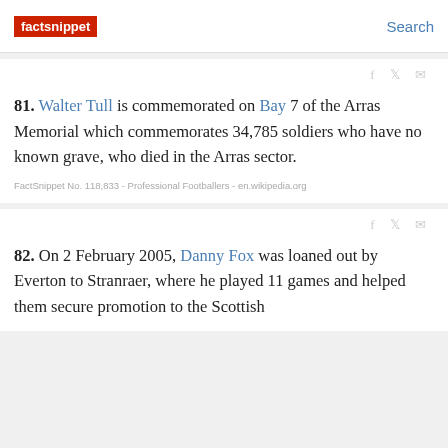factsnippet | Search
81. Walter Tull is commemorated on Bay 7 of the Arras Memorial which commemorates 34,785 soldiers who have no known grave, who died in the Arras sector.
FactSnippet No. 118,833 - Professional Footballers - en.wikipedia.org
82. On 2 February 2005, Danny Fox was loaned out by Everton to Stranraer, where he played 11 games and helped them secure promotion to the Scottish